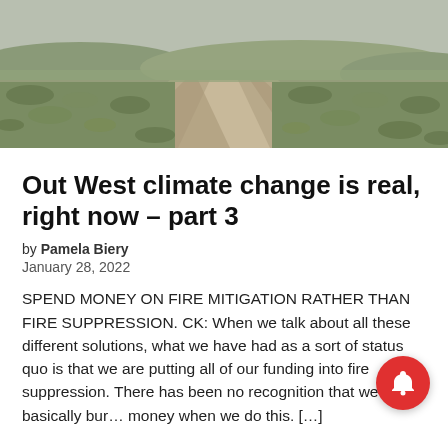[Figure (photo): Aerial/road-level view of a dirt road stretching into the distance through dry scrubland under a grey-blue sky, typical of the American West.]
Out West climate change is real, right now – part 3
by Pamela Biery
January 28, 2022
SPEND MONEY ON FIRE MITIGATION RATHER THAN FIRE SUPPRESSION. CK: When we talk about all these different solutions, what we have had as a sort of status quo is that we are putting all of our funding into fire suppression. There has been no recognition that we are basically bur… money when we do this. […]